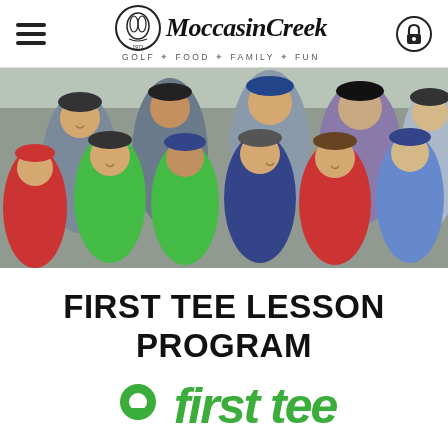Moccasin Creek Golf / Food / Family / Fun
[Figure (photo): Group photo of young junior golfers wearing PGA Junior League polo shirts in various colors (green, navy, red, gray, blue, purple) with golf caps including Titleist branded hats. They are posed together outdoors.]
FIRST TEE LESSON PROGRAM
[Figure (logo): First Tee logo: green circular location pin icon followed by green bold italic text reading 'first tee']